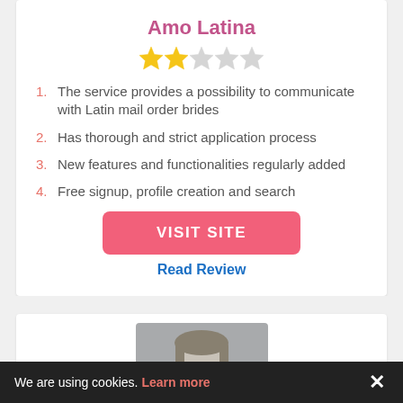Amo Latina
[Figure (other): Star rating: 2 out of 5 stars (2 filled gold stars, 3 empty grey stars)]
1. The service provides a possibility to communicate with Latin mail order brides
2. Has thorough and strict application process
3. New features and functionalities regularly added
4. Free signup, profile creation and search
VISIT SITE
Read Review
[Figure (photo): Partial photo of a person's face/head, cropped, grey background]
We are using cookies. Learn more